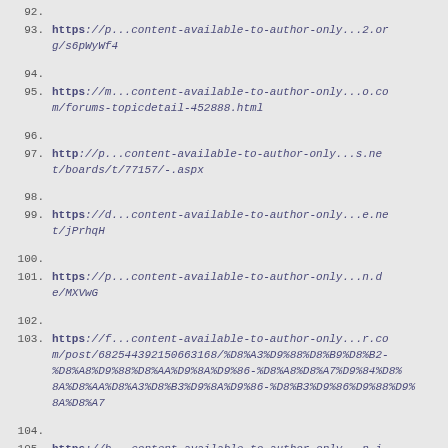92.
93. https://p...content-available-to-author-only...2.org/s6pWyWf4
94.
95. https://m...content-available-to-author-only...o.com/forums-topicdetail-452888.html
96.
97. http://p...content-available-to-author-only...s.net/boards/t/77157/-.aspx
98.
99. https://d...content-available-to-author-only...e.net/jPrhqH
100.
101. https://p...content-available-to-author-only...n.de/MXVwG
102.
103. https://f...content-available-to-author-only...r.com/post/682544392150663168/%D8%A3%D9%88%D8%B9%D8%B2-%D8%A8%D9%88%D8%AA%D9%8A%D9%86-%D8%A8%D8%A7%D9%84%D8%AA%D8%B3%D9%8A%D9%86-%D8%B3%D9%86%D9%88%D9%8A%D8%A7
104.
105. https://b...content-available-to-author-only...n.i